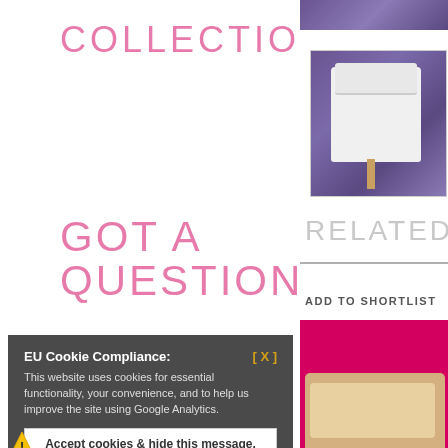COLLECTION
GOT A QUESTION?
[Figure (photo): Purple/blue velvet fabric background visible at top right]
[Figure (photo): White sailor-style children's romper outfit on a mannequin against purple velvet background]
RELATED P
ADD TO SHORTLIST
[Figure (photo): Pink/magenta background with white shoes partially visible at bottom]
EU Cookie Compliance: [ X ]
This website uses cookies for essential functionality, your convenience, and to help us improve the site using Google Analytics.
Accept cookies & hide this message.
Find out more about cookies
Have a look at our wonderful, and